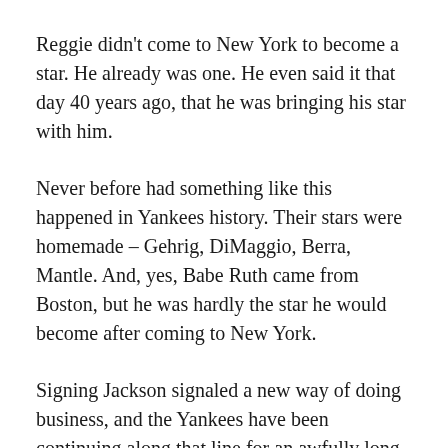Reggie didn't come to New York to become a star. He already was one. He even said it that day 40 years ago, that he was bringing his star with him.
Never before had something like this happened in Yankees history. Their stars were homemade – Gehrig, DiMaggio, Berra, Mantle. And, yes, Babe Ruth came from Boston, but he was hardly the star he would become after coming to New York.
Signing Jackson signaled a new way of doing business, and the Yankees have been continuing along that line for an awfully long time – Dave Winfield, Jason Giambi, Hideki Matsui, Alex Rodriguez. The biggest names in the game seem to find their way here time and time again.